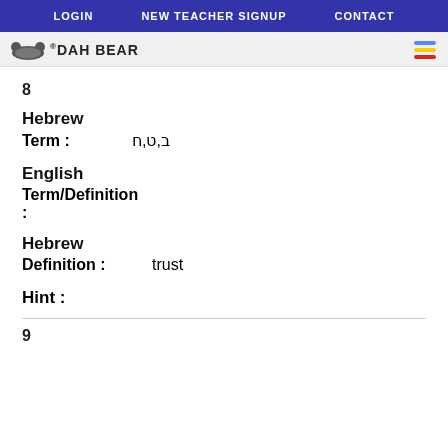LOGIN   NEW TEACHER SIGNUP   CONTACT
[Figure (logo): Dah Bear logo with bear icon and hamburger menu]
8
Hebrew
Term : ב,ט,ח
English
Term/Definition :
Hebrew
Definition : trust
Hint :
9